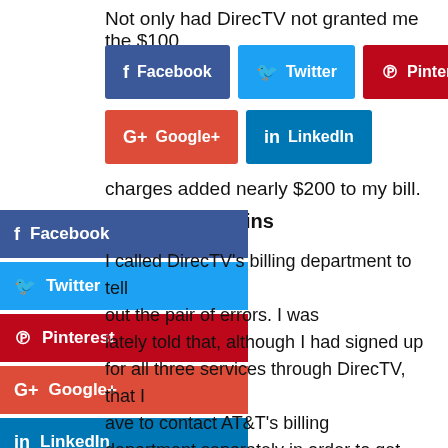Not only had DirecTV not granted me the $100
[Figure (infographic): Social share buttons: Facebook (dark blue), Twitter (light blue), Pinterest (dark red) in top row; Google+ (red), LinkedIn (teal) in second row]
charges added nearly $200 to my bill.
[Figure (infographic): Floating sidebar social share buttons: Facebook, Twitter, Pinterest, Google+, LinkedIn]
The Battle Begins
I called DirecTV's billing department to tell about the pair of errors. I was immediately told that, although I had signed up for all three services through DirecTV, that I have to contact AT&T's billing department separately in order to get everything ironed out. In other words, DirecTV was no longer involved – in any way – in the AT&T service or billing.